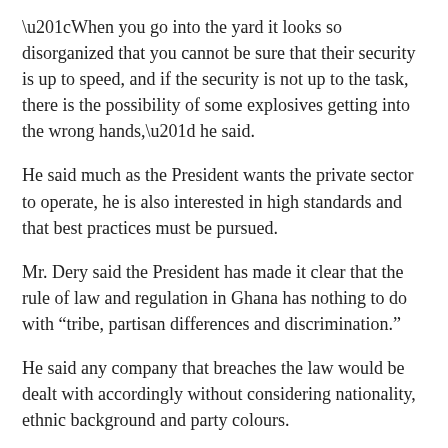“When you go into the yard it looks so disorganized that you cannot be sure that their security is up to speed, and if the security is not up to the task, there is the possibility of some explosives getting into the wrong hands,” he said.
He said much as the President wants the private sector to operate, he is also interested in high standards and that best practices must be pursued.
Mr. Dery said the President has made it clear that the rule of law and regulation in Ghana has nothing to do with “tribe, partisan differences and discrimination.”
He said any company that breaches the law would be dealt with accordingly without considering nationality, ethnic background and party colours.
–